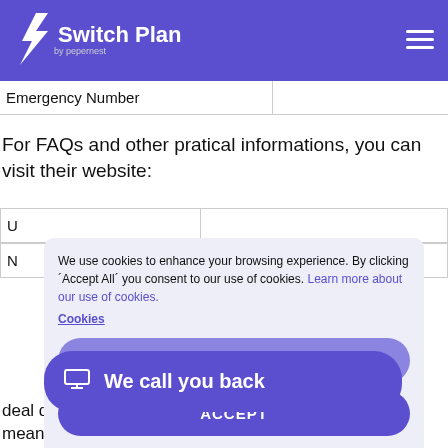Switch Plan by pepernest
| Emergency Number |  |
| --- | --- |
For FAQs and other pratical informations, you can visit their website:
| U |  |
| --- | --- |
| N |  |
[Figure (screenshot): Cookie consent overlay with 'We use cookies to enhance your browsing experience. By clicking Accept All you consent to our use of cookies. Learn more about our use of cookies. Cookies' text, a DECLINE button and an ACCEPT button]
[Figure (screenshot): Blue 'We call you back' button with monitor icon]
deal directly with their distribution network operator means that most of us have no idea how the system